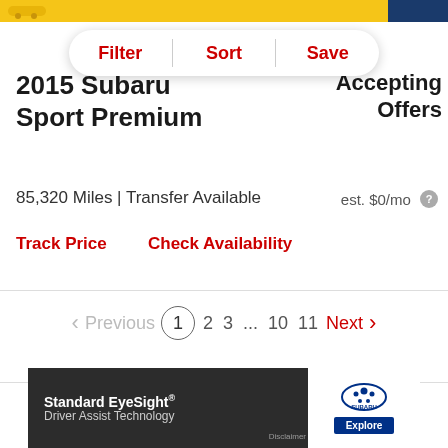[Figure (screenshot): Top navigation bar with yellow background and dark blue right section, partially showing a logo]
2015 Subaru Sport Premium
Accepting Offers
85,320 Miles | Transfer Available
est. $0/mo
Track Price
Check Availability
Previous 1 2 3 ... 10 11 Next
[Figure (screenshot): Subaru advertisement banner: Standard EyeSight Driver Assist Technology with Subaru logo and Explore button]